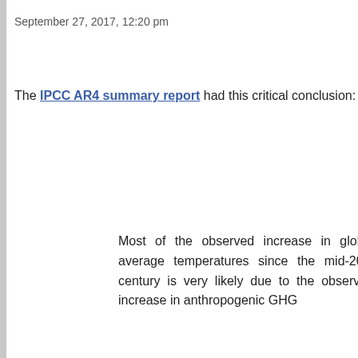September 27, 2017, 12:20 pm
The IPCC AR4 summary report had this critical conclusion:
Most of the observed increase in global average temperatures since the mid-20th century is very likely due to the observed increase in anthropogenic GHG